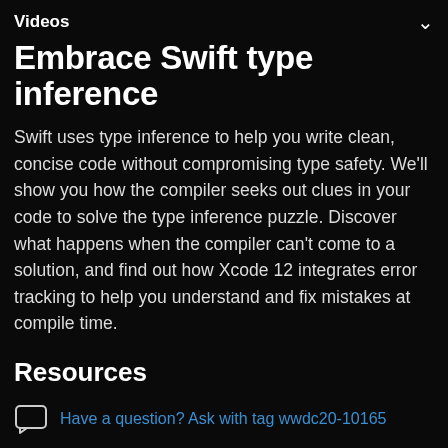Videos
Embrace Swift type inference
Swift uses type inference to help you write clean, concise code without compromising type safety. We'll show you how the compiler seeks out clues in your code to solve the type inference puzzle. Discover what happens when the compiler can't come to a solution, and find out how Xcode 12 integrates error tracking to help you understand and fix mistakes at compile time.
Resources
Have a question? Ask with tag wwdc20-10165
Search the forums for tag wwdc20-10165
The Swift Programming language